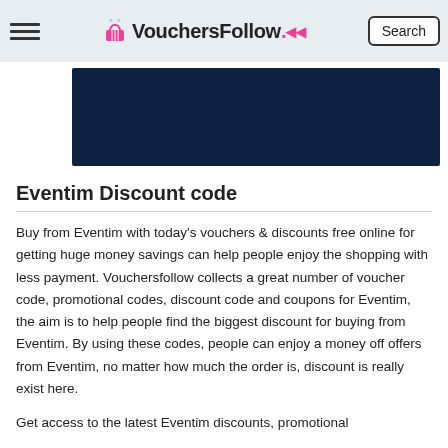VouchersFollow. Search
[Figure (other): Dark navy blue banner/hero image area]
Eventim Discount code
Buy from Eventim with today's vouchers & discounts free online for getting huge money savings can help people enjoy the shopping with less payment. Vouchersfollow collects a great number of voucher code, promotional codes, discount code and coupons for Eventim, the aim is to help people find the biggest discount for buying from Eventim. By using these codes, people can enjoy a money off offers from Eventim, no matter how much the order is, discount is really exist here.
Get access to the latest Eventim discounts, promotional